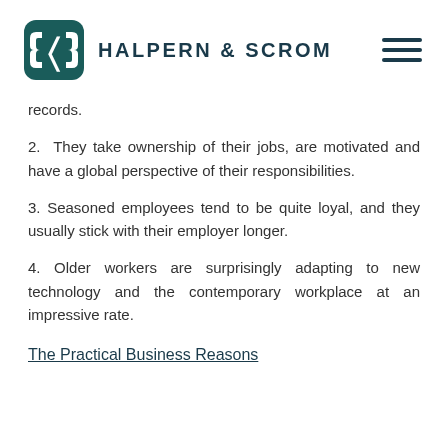HALPERN & SCROM
records.
2.  They take ownership of their jobs, are motivated and have a global perspective of their responsibilities.
3. Seasoned employees tend to be quite loyal, and they usually stick with their employer longer.
4. Older workers are surprisingly adapting to new technology and the contemporary workplace at an impressive rate.
The Practical Business Reasons